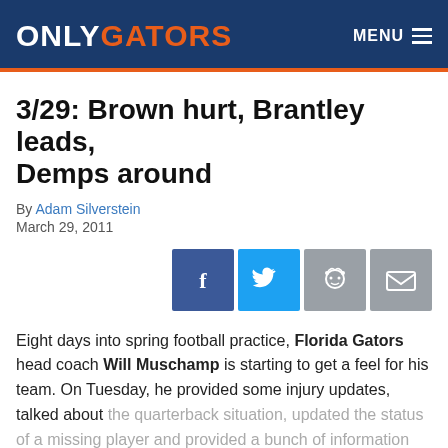ONLY GATORS — MENU
3/29: Brown hurt, Brantley leads, Demps around
By Adam Silverstein
March 29, 2011
[Figure (other): Social sharing buttons: Facebook, Twitter, Reddit, Email]
Eight days into spring football practice, Florida Gators head coach Will Muschamp is starting to get a feel for his team. On Tuesday, he provided some injury updates, talked about the quarterback situation, updated the status of a missing player and provided a bunch of information about the team in general.